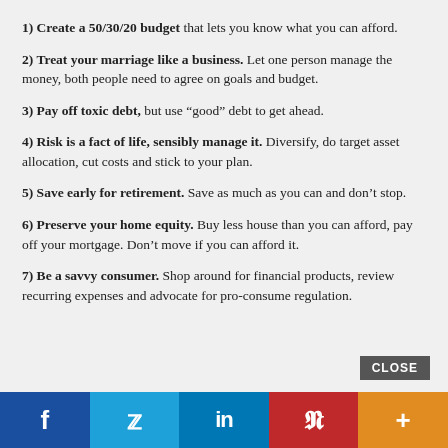1) Create a 50/30/20 budget that lets you know what you can afford.
2) Treat your marriage like a business. Let one person manage the money, both people need to agree on goals and budget.
3) Pay off toxic debt, but use “good” debt to get ahead.
4) Risk is a fact of life, sensibly manage it. Diversify, do target asset allocation, cut costs and stick to your plan.
5) Save early for retirement. Save as much as you can and don’t stop.
6) Preserve your home equity. Buy less house than you can afford, pay off your mortgage. Don’t move if you can afford it.
7) Be a savvy consumer. Shop around for financial products, review recurring expenses and advocate for pro-consume regulation.